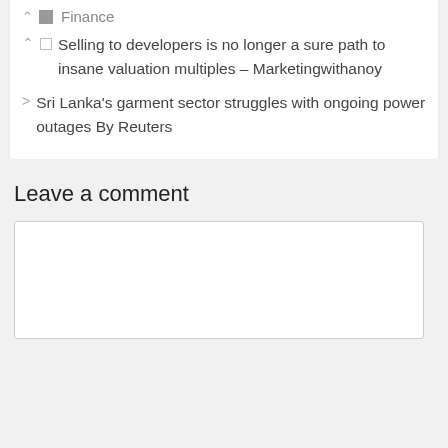Finance
Selling to developers is no longer a sure path to insane valuation multiples – Marketingwithanoy
Sri Lanka's garment sector struggles with ongoing power outages By Reuters
Leave a comment